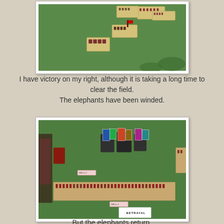[Figure (photo): Wargame miniatures on a green mat, showing military units on bases viewed from above]
I have victory on my right, although it is taking a long time to clear the field.
The elephants have been winded.
[Figure (photo): Wargame miniatures showing elephant units and infantry on a green mat, with cards labeled VBU is 2, VBU is 1, and BETRAYAL]
But the elephants return.